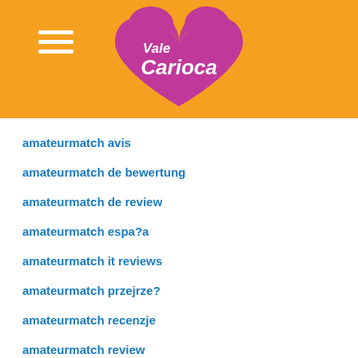[Figure (logo): Vale Carioca logo - pink heart shape with white text 'Vale Carioca' on orange background header]
amateurmatch avis
amateurmatch de bewertung
amateurmatch de review
amateurmatch espa?a
amateurmatch it reviews
amateurmatch przejrze?
amateurmatch recenzje
amateurmatch review
amateurmatch review 2021
amateurmatch reviews
amateurmatch sign in
amateurmatch visitors
Amazon Reviews
america advance payday loan